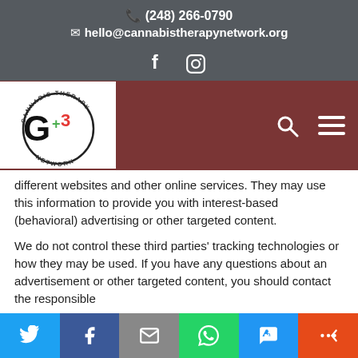(248) 266-0790
hello@cannabistherapynetwork.org
f  [instagram icon]
[Figure (logo): Cannabis Therapy Network G+3 logo — circular cannabis leaf ring with G+3 text, black and green and red]
different websites and other online services. They may use this information to provide you with interest-based (behavioral) advertising or other targeted content.
We do not control these third parties' tracking technologies or how they may be used. If you have any questions about an advertisement or other targeted content, you should contact the responsible
[Twitter] [Facebook] [Email] [WhatsApp] [SMS] [Share]